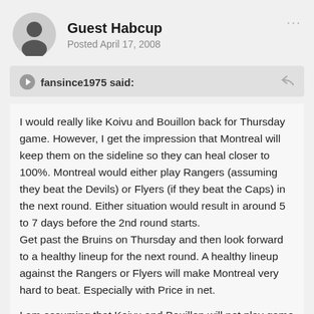Guest Habcup
Posted April 17, 2008
fansince1975 said:
I would really like Koivu and Bouillon back for Thursday game. However, I get the impression that Montreal will keep them on the sideline so they can heal closer to 100%. Montreal would either play Rangers (assuming they beat the Devils) or Flyers (if they beat the Caps) in the next round. Either situation would result in around 5 to 7 days before the 2nd round starts.
Get past the Bruins on Thursday and then look forward to a healthy lineup for the next round. A healthy lineup against the Rangers or Flyers will make Montreal very hard to beat. Especially with Price in net.

I am assuming that Koivu and Bouillon will not play game 5.

1) I would like to see Ryder back into game 5 to provide another scoring threat on the 4th line and maybe some PP time. He would replace Streit on 4th line.